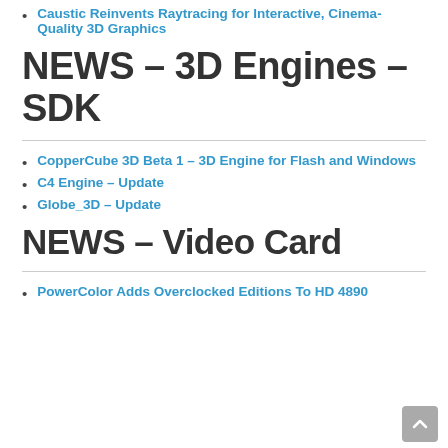Caustic Reinvents Raytracing for Interactive, Cinema-Quality 3D Graphics
NEWS – 3D Engines – SDK
CopperCube 3D Beta 1 – 3D Engine for Flash and Windows
C4 Engine – Update
Globe_3D – Update
NEWS – Video Card
PowerColor Adds Overclocked Editions To HD 4890